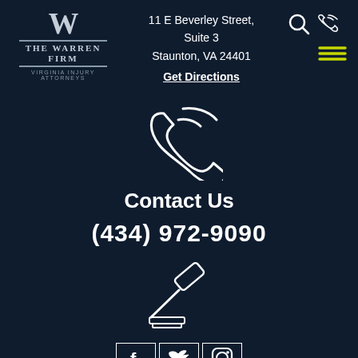[Figure (logo): The Warren Firm Virginia Injury Attorneys logo with large W and horizontal lines]
11 E Beverley Street, Suite 3
Staunton, VA 24401
Get Directions
[Figure (illustration): Large phone/call icon with signal waves]
Contact Us
(434) 972-9090
[Figure (illustration): Gavel/judge hammer icon]
[Figure (illustration): Social media icons row: Facebook, Twitter, Instagram]